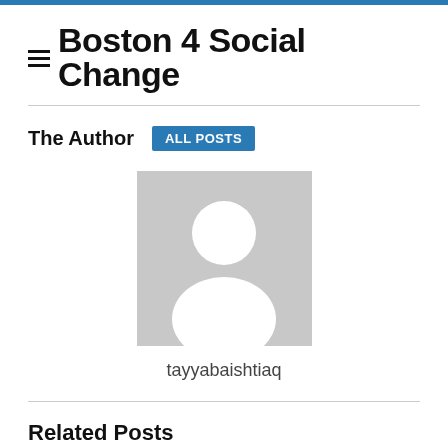Boston 4 Social Change
The Author
[Figure (photo): Default avatar placeholder — grey square with white silhouette of a person]
tayyabaishtiaq
Related Posts
[Figure (photo): Thumbnail image for related post — children in green outdoor setting]
[Featured Non-Profit]: Boston Scores